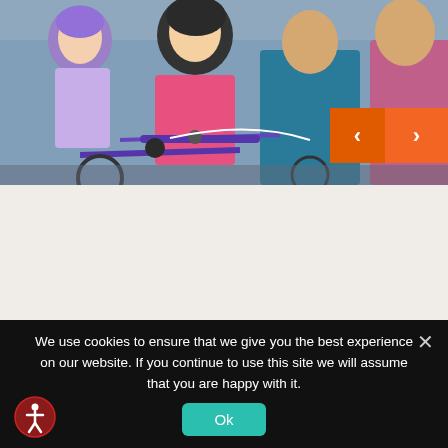[Figure (photo): Family of four riding bicycles together. Two children wearing helmets in front, adults visible behind. Child in center wears pink long-sleeve shirt and purple helmet, child on left wears lavender helmet. Navigation arrows (left/right) overlay the image in orange buttons at right side.]
We use cookies to ensure that we give you the best experience on our website. If you continue to use this site we will assume that you are happy with it.